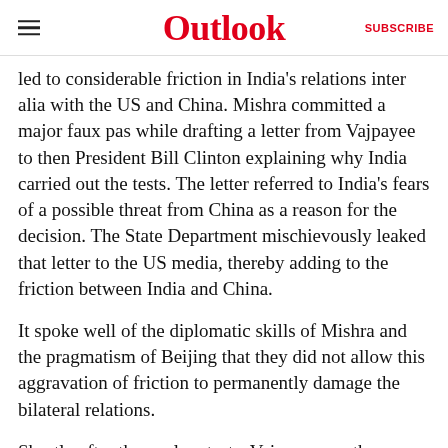Outlook | SUBSCRIBE
led to considerable friction in India's relations inter alia with the US and China. Mishra committed a major faux pas while drafting a letter from Vajpayee to then President Bill Clinton explaining why India carried out the tests. The letter referred to India's fears of a possible threat from China as a reason for the decision. The State Department mischievously leaked that letter to the US media, thereby adding to the friction between India and China.
It spoke well of the diplomatic skills of Mishra and the pragmatism of Beijing that they did not allow this aggravation of friction to permanently damage the bilateral relations.
Shortly after the nuclear tests, Vajpayee, on the